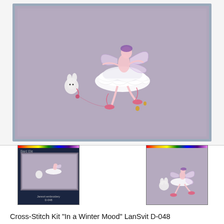[Figure (photo): Framed cross-stitch artwork showing a fairy ballerina in a white tutu with pink ballet slippers, accompanied by a small white bunny toy, on a lavender/mauve aida cloth background, in a silver frame]
[Figure (photo): Thumbnail of cross-stitch kit package with dark blue cover showing the fairy design and a rainbow holographic stripe]
[Figure (photo): Thumbnail of the completed fairy cross-stitch artwork on lavender background with rainbow holographic stripe border]
Cross-Stitch Kit “In a Winter Mood” LanSvit D-048
Size: 126 x 126 stitches; 7.9″ x 7.9″ (20 x 20 cm)
Reference: 26790